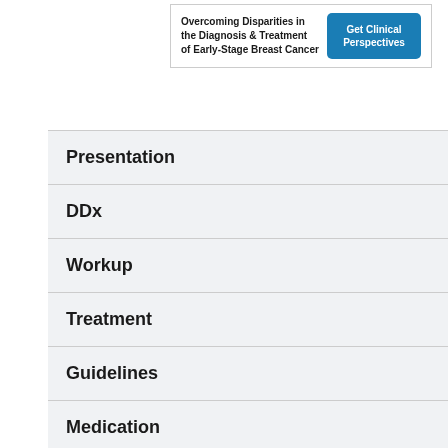[Figure (other): Advertisement banner: 'Overcoming Disparities in the Diagnosis & Treatment of Early-Stage Breast Cancer' with a 'Get Clinical Perspectives' button]
Presentation
DDx
Workup
Treatment
Guidelines
Medication
Questions & Answers
Media Gallery
References